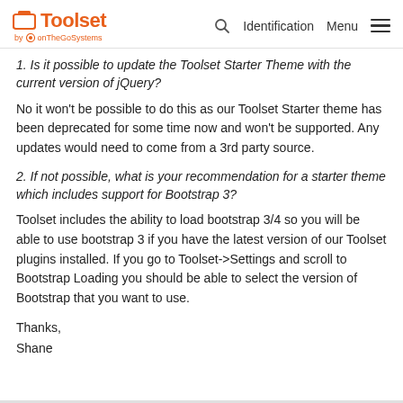Toolset by onTheGoSystems | Identification | Menu
1. Is it possible to update the Toolset Starter Theme with the current version of jQuery?
No it won't be possible to do this as our Toolset Starter theme has been deprecated for some time now and won't be supported. Any updates would need to come from a 3rd party source.
2. If not possible, what is your recommendation for a starter theme which includes support for Bootstrap 3?
Toolset includes the ability to load bootstrap 3/4 so you will be able to use bootstrap 3 if you have the latest version of our Toolset plugins installed. If you go to Toolset->Settings and scroll to Bootstrap Loading you should be able to select the version of Bootstrap that you want to use.
Thanks,
Shane